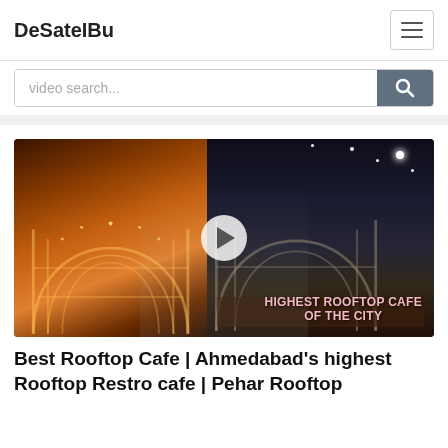DeSatelBu
video search...
[Figure (screenshot): Video thumbnail showing a rooftop cafe with illuminated arch structures. Left side shows warm golden-lit arches, right side shows the same arches at night against a dark sky. A woman in a white t-shirt is in the foreground. Text overlay reads 'Highest Rooftop Cafe of the City'. A play button is visible in the center.]
Best Rooftop Cafe | Ahmedabad's highest Rooftop Restro cafe | Pehar Rooftop